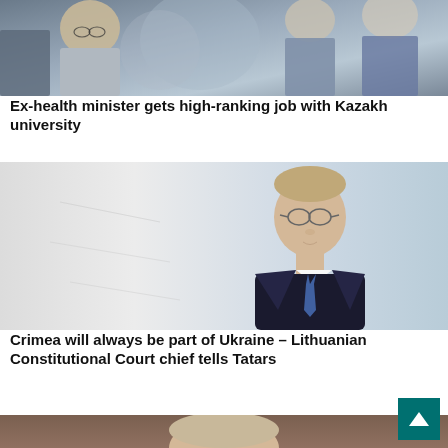[Figure (photo): Crowd of people, elderly man with glasses visible in foreground]
Ex-health minister gets high-ranking job with Kazakh university
[Figure (photo): Man in dark suit and glasses standing in front of a light background]
Crimea will always be part of Ukraine – Lithuanian Constitutional Court chief tells Tatars
[Figure (photo): Partial view of a person's head from above, against a dark brown background]